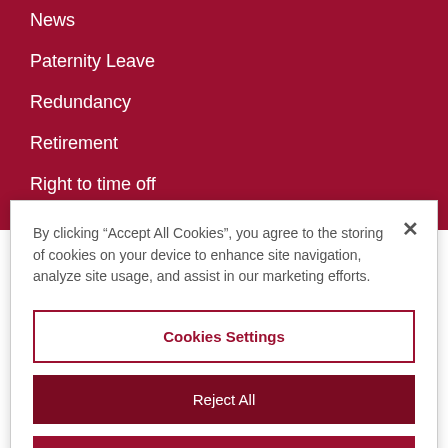News
Paternity Leave
Redundancy
Retirement
Right to time off
Sexual Discrimination
Uncategorised
By clicking “Accept All Cookies”, you agree to the storing of cookies on your device to enhance site navigation, analyze site usage, and assist in our marketing efforts.
Cookies Settings
Reject All
Accept All Cookies